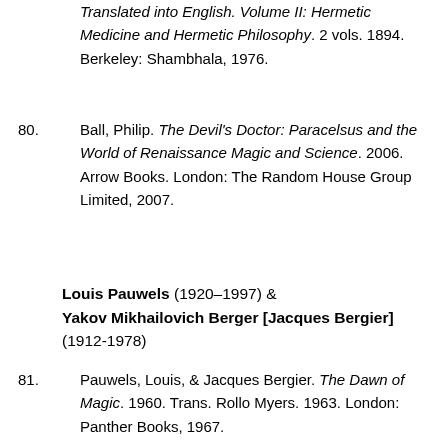Translated into English. Volume II: Hermetic Medicine and Hermetic Philosophy. 2 vols. 1894. Berkeley: Shambhala, 1976.
80. Ball, Philip. The Devil's Doctor: Paracelsus and the World of Renaissance Magic and Science. 2006. Arrow Books. London: The Random House Group Limited, 2007.
Louis Pauwels (1920–1997) & Yakov Mikhailovich Berger [Jacques Bergier] (1912-1978)
81. Pauwels, Louis, & Jacques Bergier. The Dawn of Magic. 1960. Trans. Rollo Myers. 1963. London: Panther Books, 1967.
Bishop James Albert Pike (1913-1969)